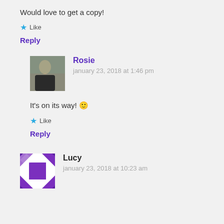Would love to get a copy!
★ Like
Reply
Rosie
january 23, 2018 at 1:46 pm
It's on its way! 🙂
★ Like
Reply
Lucy
january 23, 2018 at 10:23 am